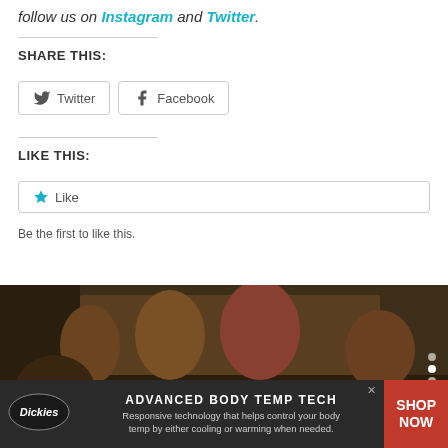follow us on Instagram and Twitter.
SHARE THIS:
[Figure (screenshot): Twitter and Facebook share buttons with icons]
LIKE THIS:
[Figure (screenshot): Like button with star icon]
Be the first to like this.
[Figure (photo): TV show scene with several people standing in an indoor set, navigation arrows on sides]
[Figure (screenshot): Dickies advertisement banner: ADVANCED BODY TEMP TECH - Responsive technology that helps control your body temp by either cooling or warming when needed. SHOP NOW]